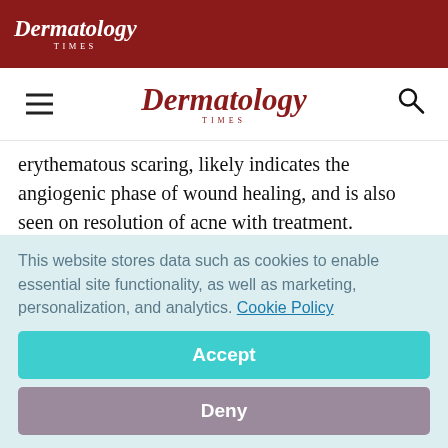Dermatology Times
Dermatology Times (navigation bar with hamburger menu and search icon)
erythematous scaring, likely indicates the angiogenic phase of wound healing, and is also seen on resolution of acne with treatment.
This is a stage of excess activity "where therapy should possibly be a bit more aggressive, with the use of vascular lasers, photorejuvenation devices as well as implementing
This website stores data such as cookies to enable essential site functionality, as well as marketing, personalization, and analytics. Cookie Policy
Accept
Deny